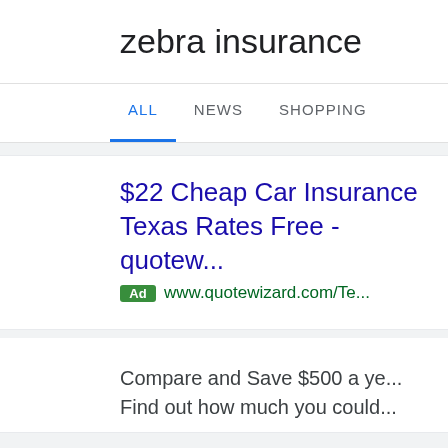zebra insurance
ALL   NEWS   SHOPPING
$22 Cheap Car Insurance Texas Rates Free - quotew...
Ad   www.quotewizard.com/Te...
Compare and Save $500 a ye... Find out how much you could...